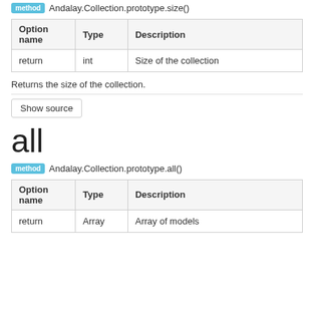method Andalay.Collection.prototype.size()
| Option name | Type | Description |
| --- | --- | --- |
| return | int | Size of the collection |
Returns the size of the collection.
Show source
all
method Andalay.Collection.prototype.all()
| Option name | Type | Description |
| --- | --- | --- |
| return | Array | Array of models |